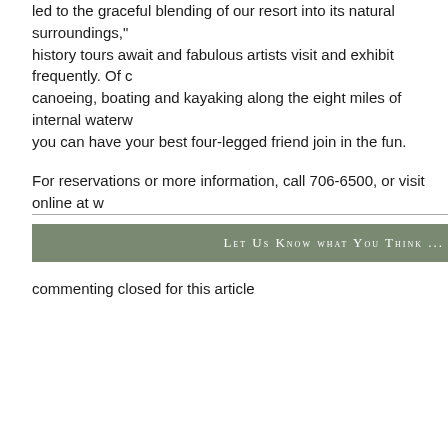led to the graceful blending of our resort into its natural surroundings," history tours await and fabulous artists visit and exhibit frequently. Of canoeing, boating and kayaking along the eight miles of internal waterw you can have your best four-legged friend join in the fun.
For reservations or more information, call 706-6500, or visit online at w
Let Us Know what You Think ...
commenting closed for this article